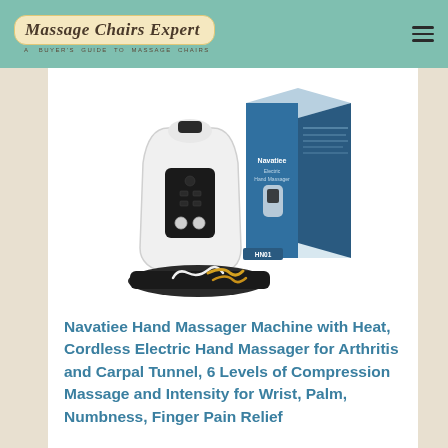Massage Chairs Expert
[Figure (photo): Product photo of Navatiee Hand Massager Machine — white cordless handheld device and its retail box (blue/white with 'Navatiee' branding and model HN01), with accessories including a black pouch and cables laid in front.]
Navatiee Hand Massager Machine with Heat, Cordless Electric Hand Massager for Arthritis and Carpal Tunnel, 6 Levels of Compression Massage and Intensity for Wrist, Palm, Numbness, Finger Pain Relief